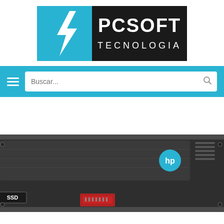[Figure (logo): PCSOFT TECNOLOGIA logo with blue and black design, lightning bolt icon on blue square, white text PCSOFT and TECNOLOGIA on black rectangle]
[Figure (screenshot): Blue navigation bar with white hamburger menu icon on left, white search input box with placeholder text Buscar... and magnifying glass icon on right]
[Figure (photo): HP SSD hard drive in a metal tray/caddy, partially visible at bottom of page, showing SSD label, blue HP logo circle, red connector area, and metal rails]